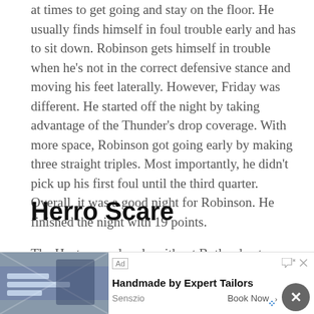at times to get going and stay on the floor. He usually finds himself in foul trouble early and has to sit down. Robinson gets himself in trouble when he's not in the correct defensive stance and moving his feet laterally. However, Friday was different. He started off the night by taking advantage of the Thunder's drop coverage. With more space, Robinson got going early by making three straight triples. Most importantly, he didn't pick up his first foul until the third quarter. Overall, it was a good night for Robinson. He finished the night with 19 points.
Herro Scare
The Heat were already without Butler due to a high ankle sprain. In the third period, it looked like Tyler Herro would join him. While running a pick and...
[Figure (other): Advertisement banner for Senszio tailoring service showing fabric/suits image with text 'Handmade by Expert Tailors', 'Senszio', 'Book Now' button, and a close (X) button]